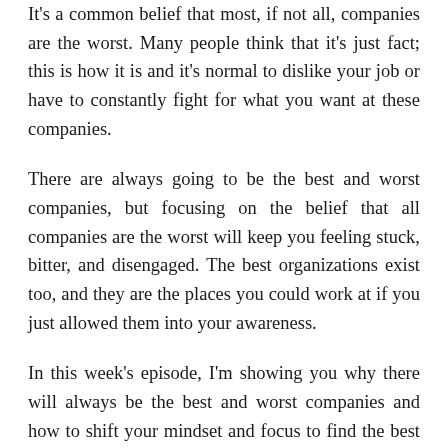It's a common belief that most, if not all, companies are the worst. Many people think that it's just fact; this is how it is and it's normal to dislike your job or have to constantly fight for what you want at these companies.
There are always going to be the best and worst companies, but focusing on the belief that all companies are the worst will keep you feeling stuck, bitter, and disengaged. The best organizations exist too, and they are the places you could work at if you just allowed them into your awareness.
In this week's episode, I'm showing you why there will always be the best and worst companies and how to shift your mindset and focus to find the best organizations out